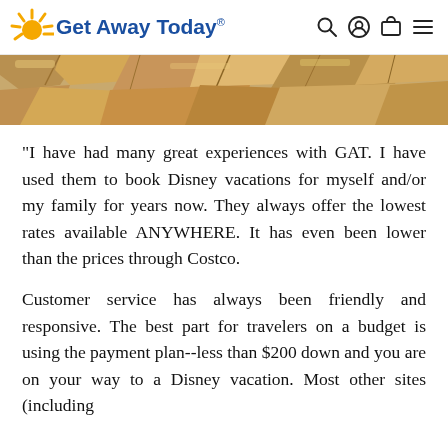Get Away Today®
[Figure (photo): Close-up photograph of rocky stone surface in warm tan and brown tones]
"I have had many great experiences with GAT. I have used them to book Disney vacations for myself and/or my family for years now. They always offer the lowest rates available ANYWHERE. It has even been lower than the prices through Costco.
Customer service has always been friendly and responsive. The best part for travelers on a budget is using the payment plan--less than $200 down and you are on your way to a Disney vacation. Most other sites (including